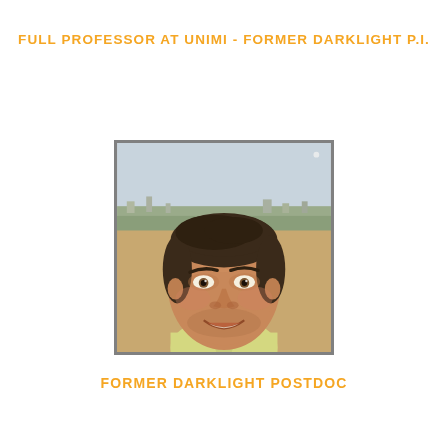FULL PROFESSOR AT UNIMI - FORMER DARKLIGHT P.I.
[Figure (photo): Headshot photo of a smiling man with short dark hair, wearing a light yellow shirt, photographed outdoors with a city landscape in the background.]
FORMER DARKLIGHT POSTDOC